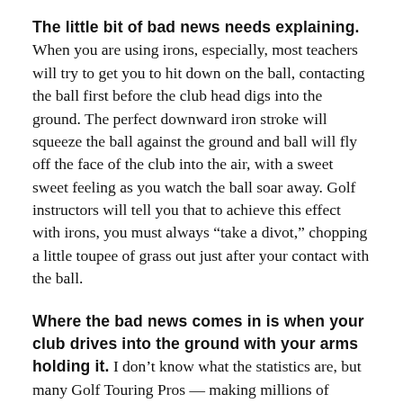The little bit of bad news needs explaining. When you are using irons, especially, most teachers will try to get you to hit down on the ball, contacting the ball first before the club head digs into the ground. The perfect downward iron stroke will squeeze the ball against the ground and ball will fly off the face of the club into the air, with a sweet sweet feeling as you watch the ball soar away. Golf instructors will tell you that to achieve this effect with irons, you must always “take a divot,” chopping a little toupee of grass out just after your contact with the ball.
Where the bad news comes in is when your club drives into the ground with your arms holding it. I don’t know what the statistics are, but many Golf Touring Pros — making millions of dollars sometimes – have to take Cortisone for their wrists and forearms. And then as